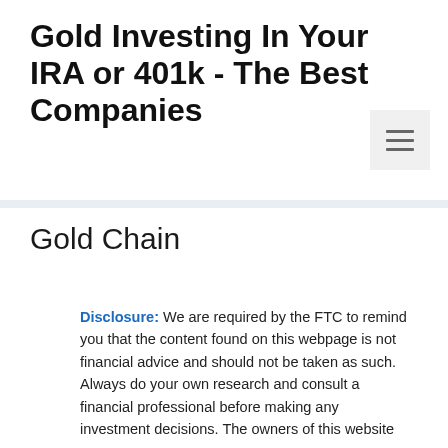Gold Investing In Your IRA or 401k - The Best Companies
Gold Chain
Disclosure: We are required by the FTC to remind you that the content found on this webpage is not financial advice and should not be taken as such. Always do your own research and consult a financial professional before making any investment decisions. The owners of this website may